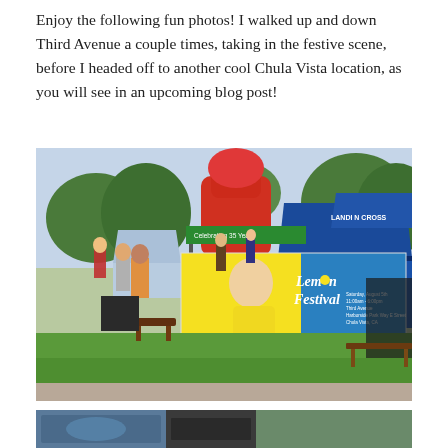Enjoy the following fun photos! I walked up and down Third Avenue a couple times, taking in the festive scene, before I headed off to another cool Chula Vista location, as you will see in an upcoming blog post!
[Figure (photo): Outdoor festival scene showing a Lemon Festival banner/sign in the foreground with a woman in yellow, blue vendor tents in background, red inflatable structure, green grass, and crowds of people at what appears to be a community event.]
[Figure (photo): Partial view of another festival photo, cropped at bottom of page.]